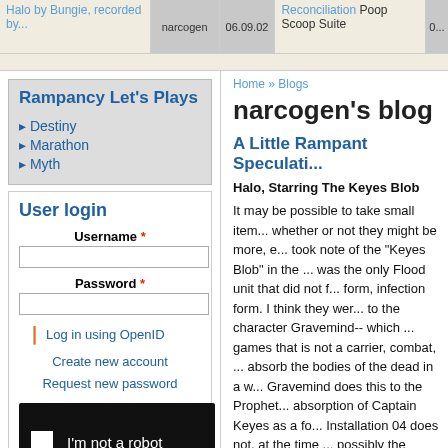Halo by Bungie, recorded by... | narcogen | 06.09.02 | Reconciliation Poop Scoop Suite
Rampancy Let's Plays
Destiny
Marathon
Myth
User login
Username *
Password *
Log in using OpenID
Create new account
Request new password
[Figure (other): reCAPTCHA I'm not a robot checkbox widget]
Home » Blogs
narcogen's blog
A Little Rampant Speculati...
Halo, Starring The Keyes Blob
It may be possible to take small item... whether or not they might be more, e... took note of the "Keyes Blob" in the ... was the only Flood unit that did not f... form, infection form. I think they wer... to the character Gravemind-- which ... games that is not a carrier, combat, ... absorb the bodies of the dead in a w... Gravemind does this to the Prophet... absorption of Captain Keyes as a fo... Installation 04 does not, at the time ... possibly the Keyes Blob is the begin...
This is, of course, speculative. If any... is a connection between the two bec...